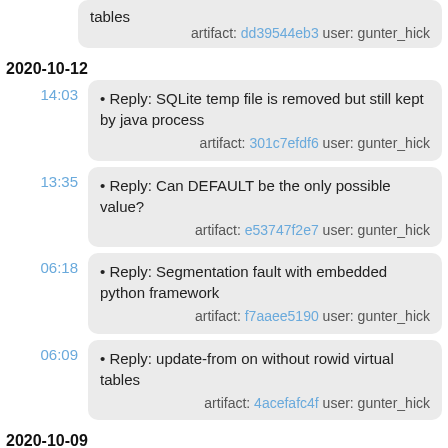• tables  artifact: dd39544eb3 user: gunter_hick
2020-10-12
14:03
• Reply: SQLite temp file is removed but still kept by java process  artifact: 301c7efdf6 user: gunter_hick
13:35
• Reply: Can DEFAULT be the only possible value?  artifact: e53747f2e7 user: gunter_hick
06:18
• Reply: Segmentation fault with embedded python framework  artifact: f7aaee5190 user: gunter_hick
06:09
• Reply: update-from on without rowid virtual tables  artifact: 4acefafc4f user: gunter_hick
2020-10-09
09:02
• Reply: Attaching to DB *AFTER* Transaction started  artifact: 92a9ad80d5 user: gunter_hick
08:26
• Reply: Documentation for where query optimizations & relation algebra occurs?